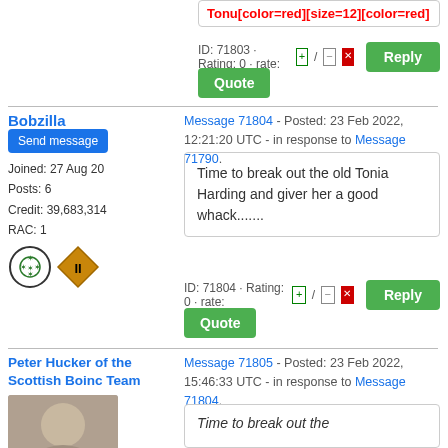Tonu[color=red][size=12][color=red]
ID: 71803 · Rating: 0 · rate: +/ - x
Quote
Bobzilla
Send message
Joined: 27 Aug 20
Posts: 6
Credit: 39,683,314
RAC: 1
Message 71804 - Posted: 23 Feb 2022, 12:21:20 UTC - in response to Message 71790.
Time to break out the old Tonia Harding and giver her a good whack.......
ID: 71804 · Rating: 0 · rate: +/ - x
Quote
Peter Hucker of the Scottish Boinc Team
Message 71805 - Posted: 23 Feb 2022, 15:46:33 UTC - in response to Message 71804.
Time to break out the